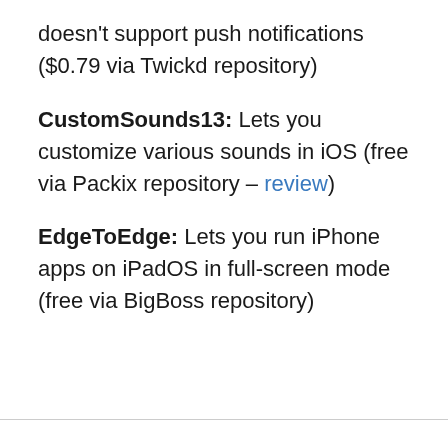doesn't support push notifications ($0.79 via Twickd repository)
CustomSounds13: Lets you customize various sounds in iOS (free via Packix repository – review)
EdgeToEdge: Lets you run iPhone apps on iPadOS in full-screen mode (free via BigBoss repository)